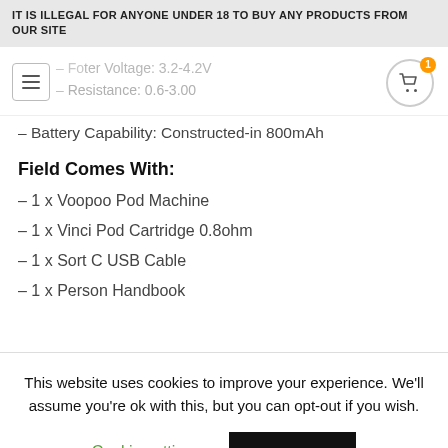IT IS ILLEGAL FOR ANYONE UNDER 18 TO BUY ANY PRODUCTS FROM OUR SITE
– Battery Capability: Constructed-in 800mAh
Field Comes With:
– 1 x Voopoo Pod Machine
– 1 x Vinci Pod Cartridge 0.8ohm
– 1 x Sort C USB Cable
– 1 x Person Handbook
This website uses cookies to improve your experience. We'll assume you're ok with this, but you can opt-out if you wish.
Cookie settings    ACCEPT